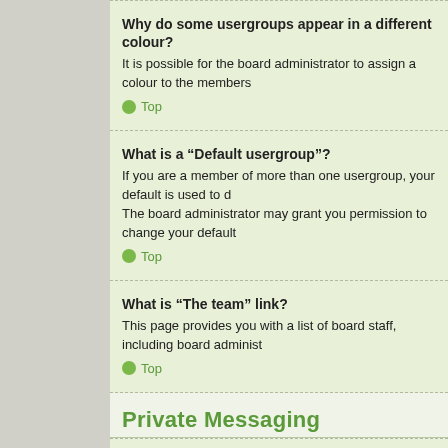Why do some usergroups appear in a different colour?
It is possible for the board administrator to assign a colour to the members
Top
What is a “Default usergroup”?
If you are a member of more than one usergroup, your default is used to d… The board administrator may grant you permission to change your default…
Top
What is “The team” link?
This page provides you with a list of board staff, including board administ…
Top
Private Messaging
I cannot send private messages!
There are three reasons for this; you are not registered and/or not logged… or the board administrator has prevented you from sending messages. Co…
Top
I keep getting unwanted private messages!
You can block a user from sending you private messages by using mess… messages from a particular user, inform a board administrator; they have…